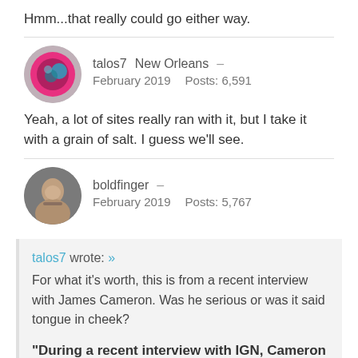Hmm...that really could go either way.
talos7   New Orleans  –
February 2019   Posts: 6,591
Yeah, a lot of sites really ran with it, but I take it with a grain of salt. I guess we'll see.
boldfinger  –
February 2019   Posts: 5,767
talos7 wrote: »
For what it's worth, this is from a recent interview with James Cameron. Was he serious or was it said tongue in cheek?

"During a recent interview with IGN, Cameron was asked if he could give Neill Blomkamp a call